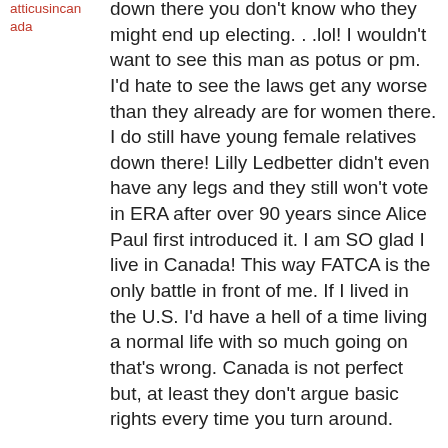atticusincanada
down there you don't know who they might end up electing. . .lol! I wouldn't want to see this man as potus or pm. I'd hate to see the laws get any worse than they already are for women there. I do still have young female relatives down there! Lilly Ledbetter didn't even have any legs and they still won't vote in ERA after over 90 years since Alice Paul first introduced it. I am SO glad I live in Canada! This way FATCA is the only battle in front of me. If I lived in the U.S. I'd have a hell of a time living a normal life with so much going on that's wrong. Canada is not perfect but, at least they don't argue basic rights every time you turn around.
↳ Reply
August 25, 2013 at 6:17